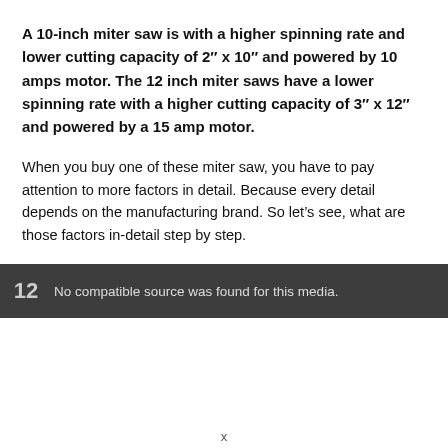A 10-inch miter saw is with a higher spinning rate and lower cutting capacity of 2″ x 10″ and powered by 10 amps motor. The 12 inch miter saws have a lower spinning rate with a higher cutting capacity of 3″ x 12″ and powered by a 15 amp motor.
When you buy one of these miter saw, you have to pay attention to more factors in detail. Because every detail depends on the manufacturing brand. So let's see, what are those factors in-detail step by step.
[Figure (other): Dark grey media player bar with number 12 and text 'No compatible source was found for this media.']
x